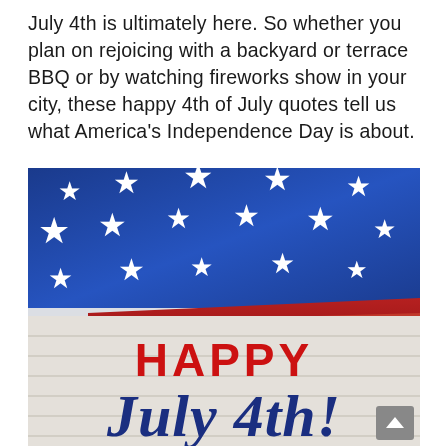July 4th is ultimately here. So whether you plan on rejoicing with a backyard or terrace BBQ or by watching fireworks show in your city, these happy 4th of July quotes tell us what America's Independence Day is about.
[Figure (photo): A folded American flag with blue field and white stars on top and red and white stripes below, placed on a white wooden surface. Text overlay reads 'HAPPY' in bold red letters and 'July 4th!' in navy blue script. A gray scroll-up button appears in the bottom right corner.]